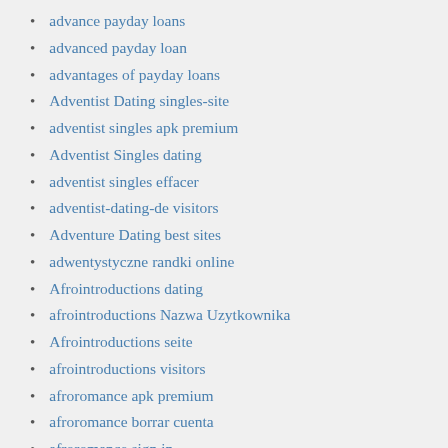advance payday loans
advanced payday loan
advantages of payday loans
Adventist Dating singles-site
adventist singles apk premium
Adventist Singles dating
adventist singles effacer
adventist-dating-de visitors
Adventure Dating best sites
adwentystyczne randki online
Afrointroductions dating
afrointroductions Nazwa Uzytkownika
Afrointroductions seite
afrointroductions visitors
afroromance apk premium
afroromance borrar cuenta
afroromance sign in
afroromance visitors
Age Gap Dating Sites App-Bewertungen
Airg dating
airg photos
Alabama instant payday loans
Alabama payday loans online same day deposit